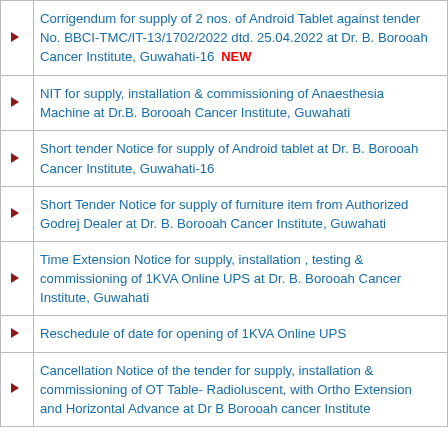Corrigendum for supply of 2 nos. of Android Tablet against tender No. BBCI-TMC/IT-13/1702/2022 dtd. 25.04.2022 at Dr. B. Borooah Cancer Institute, Guwahati-16 NEW
NIT for supply, installation & commissioning of Anaesthesia Machine at Dr.B. Borooah Cancer Institute, Guwahati
Short tender Notice for supply of Android tablet at Dr. B. Borooah Cancer Institute, Guwahati-16
Short Tender Notice for supply of furniture item from Authorized Godrej Dealer at Dr. B. Borooah Cancer Institute, Guwahati
Time Extension Notice for supply, installation , testing & commissioning of 1KVA Online UPS at Dr. B. Borooah Cancer Institute, Guwahati
Reschedule of date for opening of 1KVA Online UPS
Cancellation Notice of the tender for supply, installation & commissioning of OT Table- Radioluscent, with Ortho Extension and Horizontal Advance at Dr B Borooah cancer Institute